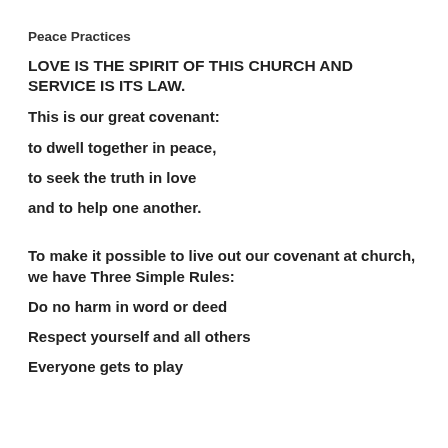Peace Practices
LOVE IS THE SPIRIT OF THIS CHURCH AND SERVICE IS ITS LAW.
This is our great covenant:
to dwell together in peace,
to seek the truth in love
and to help one another.
To make it possible to live out our covenant at church, we have Three Simple Rules:
Do no harm in word or deed
Respect yourself and all others
Everyone gets to play